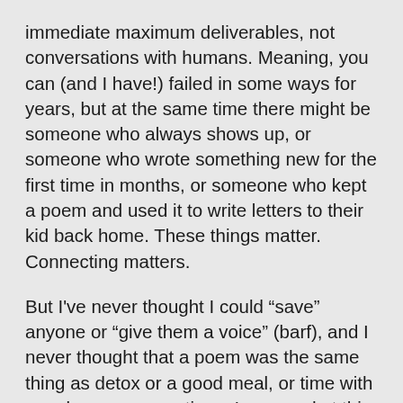immediate maximum deliverables, not conversations with humans. Meaning, you can (and I have!) failed in some ways for years, but at the same time there might be someone who always shows up, or someone who wrote something new for the first time in months, or someone who kept a poem and used it to write letters to their kid back home. These things matter. Connecting matters.
But I've never thought I could “save” anyone or “give them a voice” (barf), and I never thought that a poem was the same thing as detox or a good meal, or time with your love, or reparations. I am good at this work because I know my place in it, I have emotional resources, and I have the time and patience. I won’t always have those things this way so I won't always do this work this way, but I will always be an abolitionist.